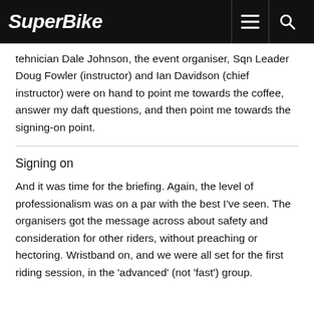SuperBike
tehnician Dale Johnson, the event organiser, Sqn Leader Doug Fowler (instructor) and Ian Davidson (chief instructor) were on hand to point me towards the coffee, answer my daft questions, and then point me towards the signing-on point.
Signing on
And it was time for the briefing. Again, the level of professionalism was on a par with the best I've seen. The organisers got the message across about safety and consideration for other riders, without preaching or hectoring. Wristband on, and we were all set for the first riding session, in the 'advanced' (not 'fast') group.